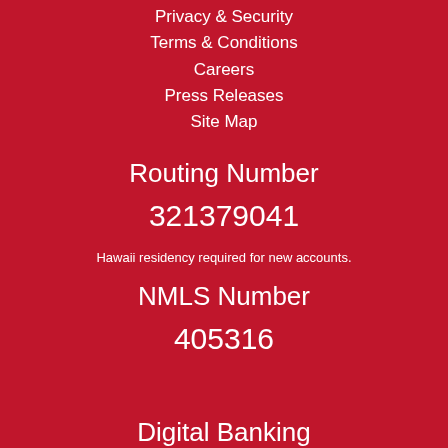Privacy & Security
Terms & Conditions
Careers
Press Releases
Site Map
Routing Number
321379041
Hawaii residency required for new accounts.
NMLS Number
405316
Digital Banking